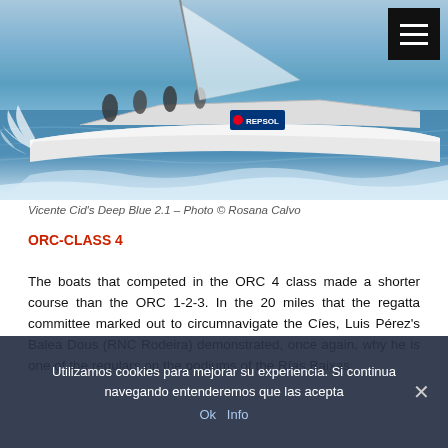[Figure (photo): Sailing yacht 'Deep Blue 2.1' with Repsol branding cutting through choppy water, people visible on deck, bow spray visible. Menu icon in top right corner.]
Vicente Cid's Deep Blue 2.1 – Photo © Rosana Calvo
ORC-CLASS 4
The boats that competed in the ORC 4 class made a shorter course than the ORC 1-2-3. In the 20 miles that the regatta committee marked out to circumnavigate the Cíes, Luis Pérez's Balea Dous (RNC Rodeira) demonstrated, once again, why he is one of the regulars on the podiums of the Rías Baixas
Utilizamos cookies para mejorar su experiencia. Si continua navegando entenderemos que las acepta
Ok   Info